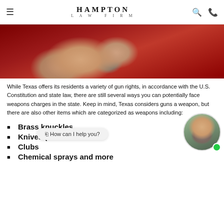Hampton Law Firm
[Figure (photo): Hands holding a handgun against a dark red background]
While Texas offers its residents a variety of gun rights, in accordance with the U.S. Constitution and state law, there are still several ways you can potentially face weapons charges in the state. Keep in mind, Texas considers guns a weapon, but there are also other items which are categorized as weapons including:
Brass knuckles
Knives (incl…
Clubs
Chemical sprays and more